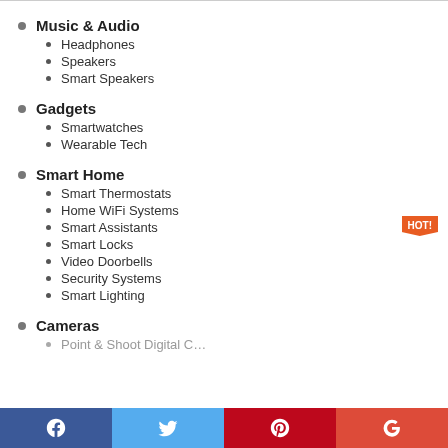Music & Audio
Headphones
Speakers
Smart Speakers
Gadgets
Smartwatches
Wearable Tech
Smart Home
Smart Thermostats
Home WiFi Systems
Smart Assistants
Smart Locks
Video Doorbells
Security Systems
Smart Lighting
Cameras
Point & Shoot Digital C…